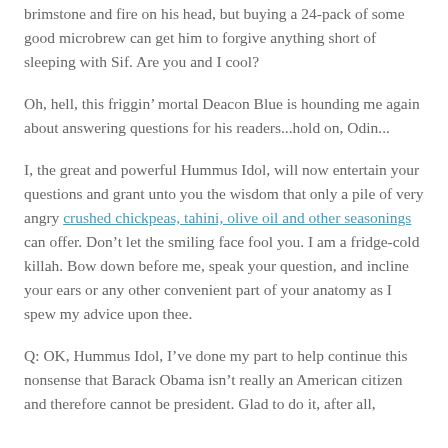brimstone and fire on his head, but buying a 24-pack of some good microbrew can get him to forgive anything short of sleeping with Sif. Are you and I cool?
Oh, hell, this friggin’ mortal Deacon Blue is hounding me again about answering questions for his readers...hold on, Odin...
I, the great and powerful Hummus Idol, will now entertain your questions and grant unto you the wisdom that only a pile of very angry crushed chickpeas, tahini, olive oil and other seasonings can offer. Don’t let the smiling face fool you. I am a fridge-cold killah. Bow down before me, speak your question, and incline your ears or any other convenient part of your anatomy as I spew my advice upon thee.
Q: OK, Hummus Idol, I’ve done my part to help continue this nonsense that Barack Obama isn’t really an American citizen and therefore cannot be president. Glad to do it, after all,